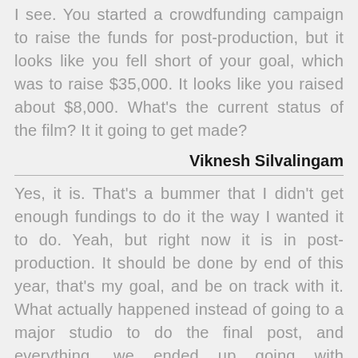I see. You started a crowdfunding campaign to raise the funds for post-production, but it looks like you fell short of your goal, which was to raise $35,000. It looks like you raised about $8,000. What's the current status of the film? It it going to get made?
Viknesh Silvalingam
Yes, it is. That's a bummer that I didn't get enough fundings to do it the way I wanted it to do. Yeah, but right now it is in post-production. It should be done by end of this year, that's my goal, and be on track with it. What actually happened instead of going to a major studio to do the final post, and everything, we ended up going with freelancers, which is the same exact,